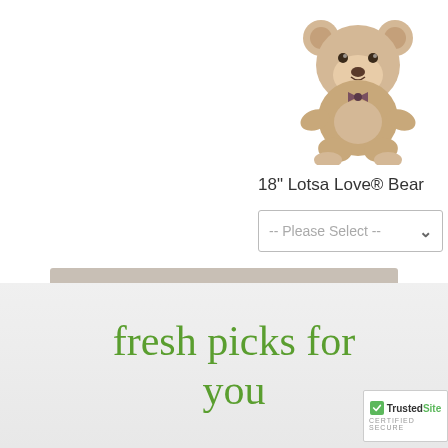[Figure (photo): Stuffed teddy bear with bow tie, tan/beige colored, seated position]
18" Lotsa Love® Bear
[Figure (other): Dropdown selector reading '-- Please Select --' with chevron arrow]
ADD TO CART
[Figure (logo): TrustedSite Certified Secure badge with green checkmark]
fresh picks for you
[Figure (logo): TrustedSite Certified Secure badge with green checkmark (bottom right)]